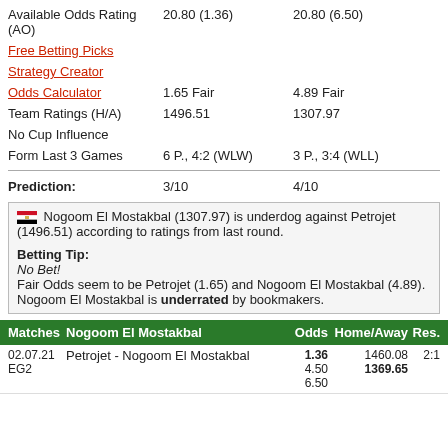Dropping Odds
|  | Home | Away |
| --- | --- | --- |
| Available Odds Rating (AO) | 20.80 (1.36) | 20.80 (6.50) |
| Free Betting Picks |  |  |
| Strategy Creator |  |  |
| Odds Calculator | 1.65 Fair | 4.89 Fair |
| Team Ratings (H/A) | 1496.51 | 1307.97 |
| No Cup Influence |  |  |
| Form Last 3 Games | 6 P., 4:2 (WLW) | 3 P., 3:4 (WLL) |
| Prediction: | 3/10 | 4/10 |
| --- | --- | --- |
Nogoom El Mostakbal (1307.97) is underdog against Petrojet (1496.51) according to ratings from last round.

Betting Tip:
No Bet!
Fair Odds seem to be Petrojet (1.65) and Nogoom El Mostakbal (4.89).
Nogoom El Mostakbal is underrated by bookmakers.
| Matches | Nogoom El Mostakbal | Odds | Home/Away | Res. |
| --- | --- | --- | --- | --- |
| 02.07.21 EG2 | Petrojet - Nogoom El Mostakbal | 1.36
4.50
6.50 | 1460.08  1369.65 | 2:1 |